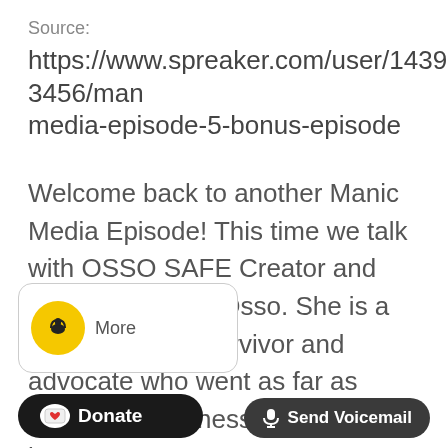Source:
https://www.spreaker.com/user/14393456/man media-episode-5-bonus-episode
Welcome back to another Manic Media Episode! This time we talk with OSSO SAFE Creator and founder Sabrina Osso. She is a home violence survivor and advocate who went as far as creating a business to help victims be ...
[Figure (other): Podcast widget card with yellow circle icon and 'More' text]
[Figure (other): Black Donate button with heart icon]
[Figure (other): Dark grey Send Voicemail button with microphone icon]